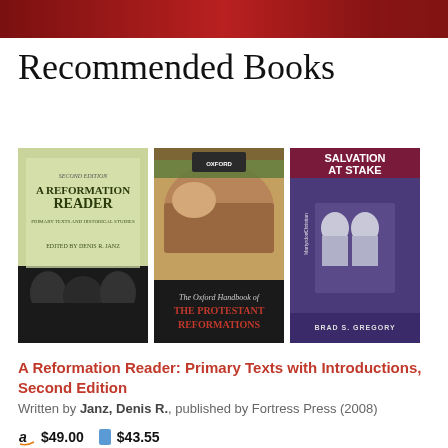[Figure (other): Red/dark red decorative header banner]
Recommended Books
[Figure (other): Three book covers side by side: 'A Reformation Reader: Primary Texts with Introductions' edited by Denis R. Janz; 'The Oxford Handbook of THE PROTESTANT REFORMATIONS'; 'SALVATION AT STAKE: Christian Martyrdom in Early Modern Europe' by Brad S. Gregory]
A Reformation Reader: Primary Texts with Introductions, Second Edition
Written by Janz, Denis R., published by Fortress Press (2008)
a $49.00   $43.55